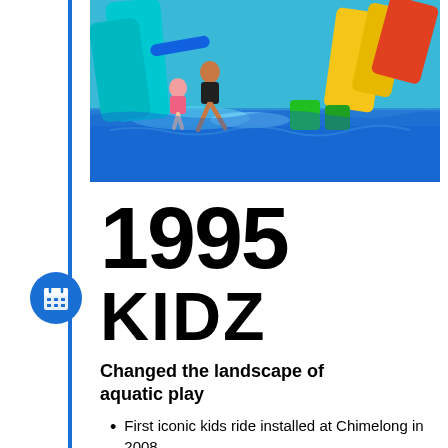[Figure (photo): Two people (an adult and a child) sliding down a colorful water slide into a pool at a water park, with bright blue, green, yellow, and red water slides visible in the background.]
1995 KIDZ
Changed the landscape of aquatic play
First iconic kids ride installed at Chimelong in 2008.
Number of installs: 31